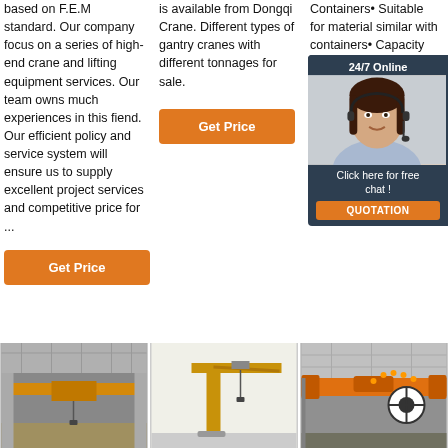based on F.E.M standard. Our company focus on a series of high-end crane and lifting equipment services. Our team owns much experiences in this fiend. Our efficient policy and service system will ensure us to supply excellent project services and competitive price for ...
Get Price
is available from Dongqi Crane. Different types of gantry cranes with different tonnages for sale.
Get Price
Containers• Suitable for material similar with containers• Capacity 10t/20t/30t/35t/40t or customi... control, controlled... Hydraul... powered... engine
Get Price
[Figure (photo): Chat widget showing a woman with headset, 24/7 Online label, Click here for free chat!, QUOTATION button]
[Figure (photo): Indoor crane photo showing yellow overhead crane in industrial building]
[Figure (photo): Yellow jib crane on pedestal]
[Figure (photo): Orange overhead crane in industrial warehouse]